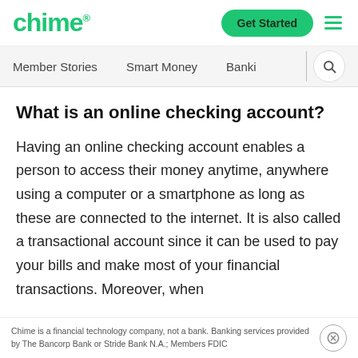chime
Member Stories | Smart Money | Banki
What is an online checking account?
Having an online checking account enables a person to access their money anytime, anywhere using a computer or a smartphone as long as these are connected to the internet. It is also called a transactional account since it can be used to pay your bills and make most of your financial transactions. Moreover, when
Chime is a financial technology company, not a bank. Banking services provided by The Bancorp Bank or Stride Bank N.A.; Members FDIC